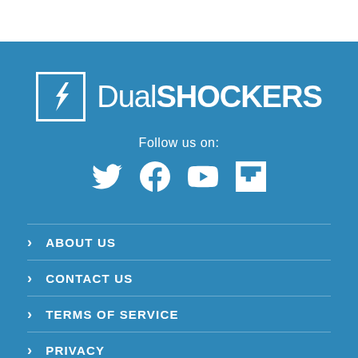[Figure (logo): DualShockers logo: white square with lightning bolt icon followed by text 'DualSHOCKERS']
Follow us on:
[Figure (infographic): Social media icons: Twitter, Facebook, YouTube, Flipboard]
ABOUT US
CONTACT US
TERMS OF SERVICE
PRIVACY